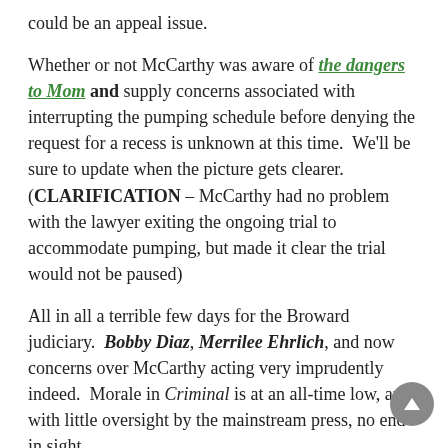could be an appeal issue.
Whether or not McCarthy was aware of the dangers to Mom and supply concerns associated with interrupting the pumping schedule before denying the request for a recess is unknown at this time.  We'll be sure to update when the picture gets clearer. (CLARIFICATION – McCarthy had no problem with the lawyer exiting the ongoing trial to accommodate pumping, but made it clear the trial would not be paused)
All in all a terrible few days for the Broward judiciary.  Bobby Diaz, Merrilee Ehrlich, and now concerns over McCarthy acting very imprudently indeed.  Morale in Criminal is at an all-time low, and with little oversight by the mainstream press, no end in sight ...
Washington Post: Workplaces must give moms space to pump breast milk